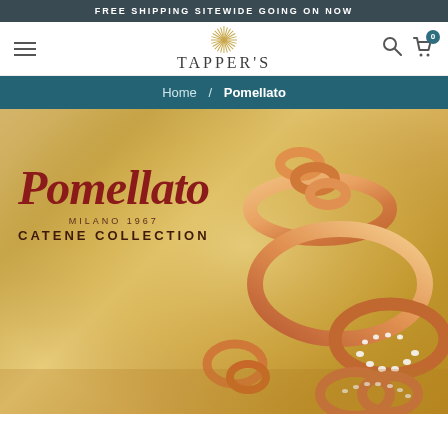FREE SHIPPING SITEWIDE GOING ON NOW
[Figure (logo): Tapper's jewelry store logo with starburst and brand name]
Home / Pomellato
[Figure (photo): Pomellato Catene Collection hero image showing rose gold chain bracelets and rings on golden background. Logo text reads: Pomellato Milano 1967 Catene Collection]